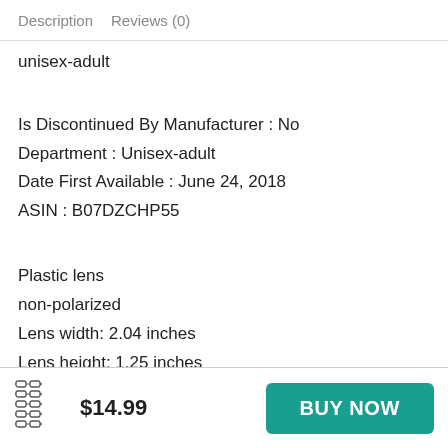Description   Reviews (0)
unisex-adult
Is Discontinued By Manufacturer : No
Department : Unisex-adult
Date First Available : June 24, 2018
ASIN : B07DZCHP55
Plastic lens
non-polarized
Lens width: 2.04 inches
Lens height: 1.25 inches
Bridge: 0.63 inches
$14.99   BUY NOW